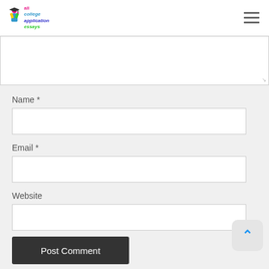All College Application Essays - navigation header with hamburger menu
[Figure (screenshot): Comment form textarea (empty, resizable) at the top of the content area]
Name *
[Figure (screenshot): Name input field (empty text box)]
Email *
[Figure (screenshot): Email input field (empty text box)]
Website
[Figure (screenshot): Website input field (empty text box)]
Post Comment